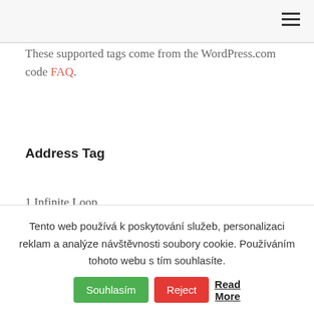These supported tags come from the WordPress.com code FAQ.
Address Tag
1 Infinite Loop
Cupertino, CA 95014
United States
Tento web používá k poskytování služeb, personalizaci reklam a analýze návštěvnosti soubory cookie. Používáním tohoto webu s tím souhlasíte. Souhlasím Reject Read More